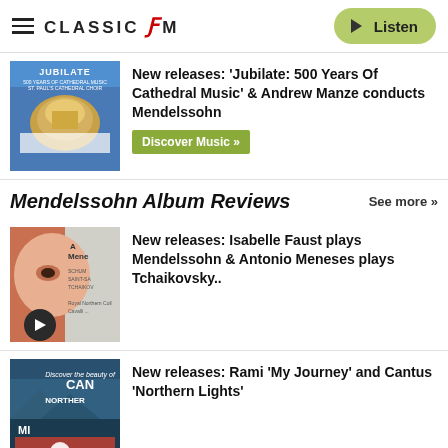Classic FM — Listen
[Figure (illustration): Jubilate: 500 Years Of Cathedral Music album cover with choral singers and dome]
New releases: 'Jubilate: 500 Years Of Cathedral Music' & Andrew Manze conducts Mendelssohn
Discover Music »
Mendelssohn Album Reviews
See more »
[Figure (illustration): Isabelle Faust album cover with close-up face]
New releases: Isabelle Faust plays Mendelssohn & Antonio Meneses plays Tchaikovsky..
[Figure (illustration): Cantus Northern Lights album cover with choir by scenery]
New releases: Rami 'My Journey' and Cantus 'Northern Lights'